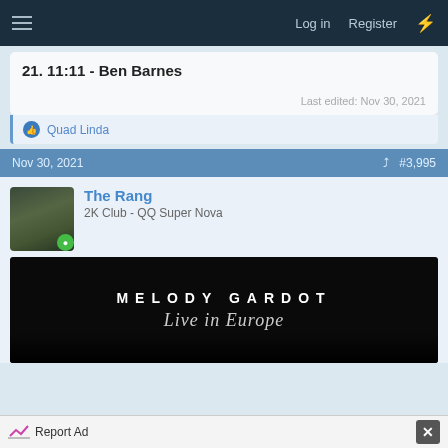Log in  Register
21. 11:11 - Ben Barnes
Last edited: Nov 30, 2021
Quad Linda
Nov 30, 2021  #3,995
The Rang
2K Club - QQ Super Nova
[Figure (photo): Melody Gardot - Live in Europe album/banner image with dark background and stylized text]
Report Ad